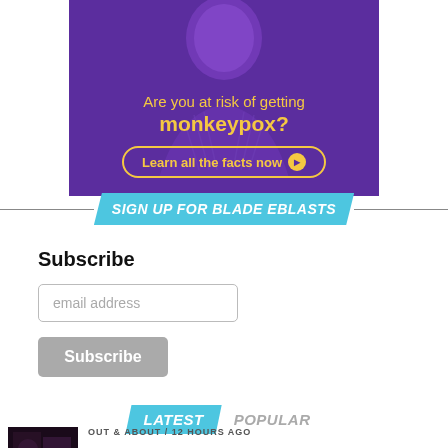[Figure (infographic): Purple background ad banner with a man's image. Text reads: 'Are you at risk of getting monkeypox?' with a 'Learn all the facts now' button.]
SIGN UP FOR BLADE EBLASTS
Subscribe
email address
Subscribe
LATEST   POPULAR
OUT & ABOUT / 12 hours ago